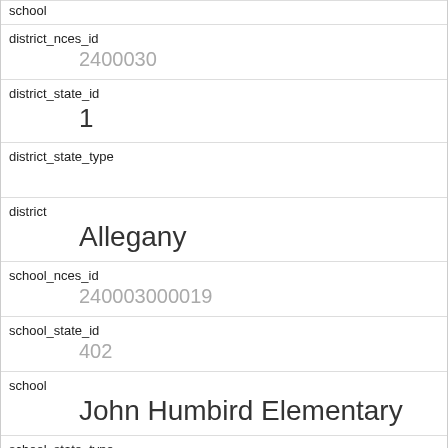school
district_nces_id
2400030
district_state_id
1
district_state_type
district
Allegany
school_nces_id
240003000019
school_state_id
402
school
John Humbird Elementary
school_state_type
ccd_school_type
Regular School
ccd_charter_school
No